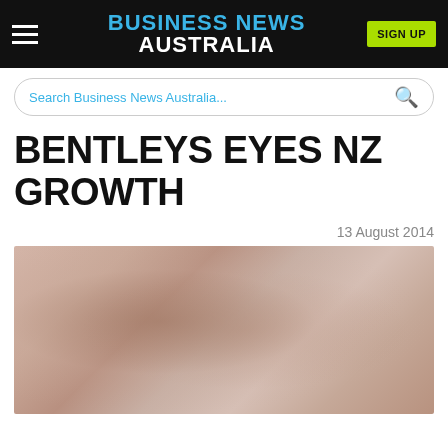BUSINESS NEWS AUSTRALIA | SIGN UP
Search Business News Australia...
BENTLEYS EYES NZ GROWTH
13 August 2014
[Figure (photo): Blurred/out-of-focus photograph, appears to show a person, background is warm pinkish-beige tones, image is partially cut off at bottom of page]